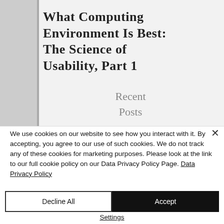What Computing Environment Is Best: The Science of Usability, Part 1
Recent
Posts
We use cookies on our website to see how you interact with it. By accepting, you agree to our use of such cookies. We do not track any of these cookies for marketing purposes. Please look at the link to our full cookie policy on our Data Privacy Policy Page. Data Privacy Policy
Decline All
Accept
Settings